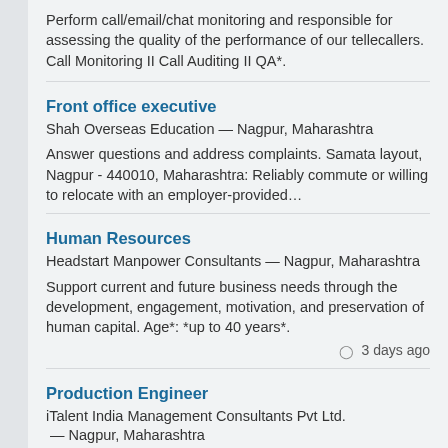Perform call/email/chat monitoring and responsible for assessing the quality of the performance of our tellecallers. Call Monitoring II Call Auditing II QA*.
Front office executive
Shah Overseas Education — Nagpur, Maharashtra
Answer questions and address complaints. Samata layout, Nagpur - 440010, Maharashtra: Reliably commute or willing to relocate with an employer-provided…
Human Resources
Headstart Manpower Consultants — Nagpur, Maharashtra
Support current and future business needs through the development, engagement, motivation, and preservation of human capital. Age*: *up to 40 years*.
3 days ago
Production Engineer
iTalent India Management Consultants Pvt Ltd.
 — Nagpur, Maharashtra
Establishing safety procedures and protocols that take the